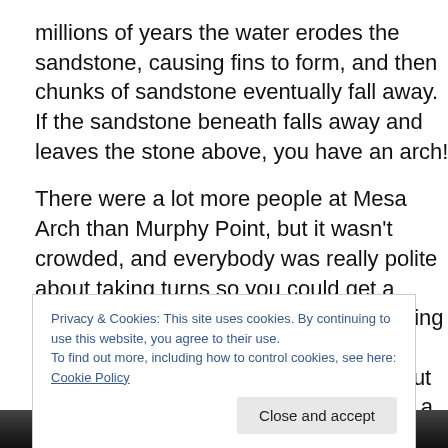millions of years the water erodes the sandstone, causing fins to form, and then chunks of sandstone eventually fall away.  If the sandstone beneath falls away and leaves the stone above, you have an arch!
There were a lot more people at Mesa Arch than Murphy Point, but it wasn't crowded, and everybody was really polite about taking turns so you could get a photo of the arch without anyone standing in it, or you standing next to the arch. I posed with the arch for a few photos, but of course Jon wouldn't.  All in all, it was a worthwhile short
Privacy & Cookies: This site uses cookies. By continuing to use this website, you agree to their use.
To find out more, including how to control cookies, see here: Cookie Policy
Close and accept
[Figure (photo): Bottom edge of a photograph, showing a dark/black strip at the bottom of the page.]